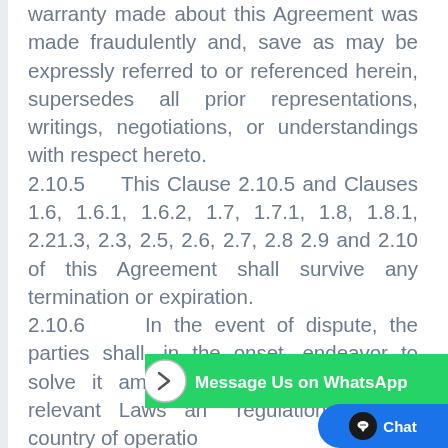warranty made about this Agreement was made fraudulently and, save as may be expressly referred to or referenced herein, supersedes all prior representations, writings, negotiations, or understandings with respect hereto.
2.10.5    This Clause 2.10.5 and Clauses 1.6, 1.6.1, 1.6.2, 1.7, 1.7.1, 1.8, 1.8.1, 2.21.3, 2.3, 2.5, 2.6, 2.7, 2.8 2.9 and 2.10 of this Agreement shall survive any termination or expiration.
2.10.6    In the event of dispute, the parties shall, in the onset, endeavor to solve it amicably or by resort to the relevant Laws and regulations of the country of operation.
2.10.7    This Agreement shall be governed by the laws of the jurisdiction in which the customers  is located (or
[Figure (other): WhatsApp 'Message Us on WhatsApp' overlay banner with arrow circle icon and green background, plus a blue 'Chat' button in the bottom right corner]